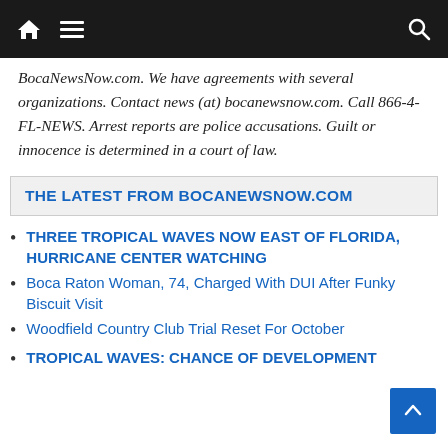Navigation bar with home, menu, and search icons
BocaNewsNow.com. We have agreements with several organizations. Contact news (at) bocanewsnow.com. Call 866-4-FL-NEWS. Arrest reports are police accusations. Guilt or innocence is determined in a court of law.
THE LATEST FROM BOCANEWSNOW.COM
THREE TROPICAL WAVES NOW EAST OF FLORIDA, HURRICANE CENTER WATCHING
Boca Raton Woman, 74, Charged With DUI After Funky Biscuit Visit
Woodfield Country Club Trial Reset For October
TROPICAL WAVES: CHANCE OF DEVELOPMENT